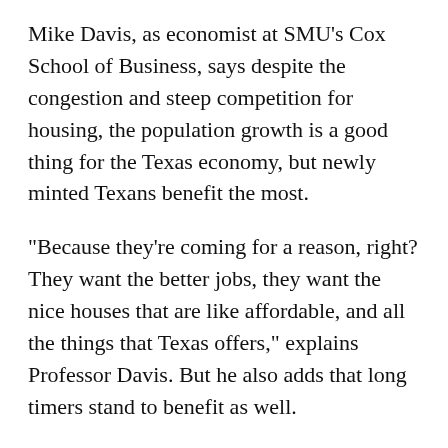Mike Davis, as economist at SMU's Cox School of Business, says despite the congestion and steep competition for housing, the population growth is a good thing for the Texas economy, but newly minted Texans benefit the most.
"Because they're coming for a reason, right? They want the better jobs, they want the nice houses that are like affordable, and all the things that Texas offers," explains Professor Davis.  But he also adds that long timers stand to benefit as well.
"You know, the quality of our lives in general is going to improve. We're going to have more opportunities for our kids. We're going to have more cultural and social opportunities, which will be fantastic. Yeah, I